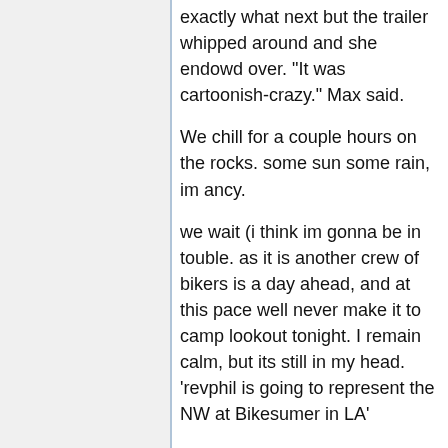exactly what next but the trailer whipped around and she endowd over. "It was cartoonish-crazy." Max said.
We chill for a couple hours on the rocks. some sun some rain, im ancy.
we wait (i think im gonna be in touble. as it is another crew of bikers is a day ahead, and at this pace well never make it to camp lookout tonight. I remain calm, but its still in my head. 'revphil is going to represent the NW at Bikesumer in LA'
We leave and take the rest of the downhill easy, stopping every 5 miles. then we start hammering it out towards tillamook. we camp just 12 miles outside. Adam and I explore a deer trail up the hill. find some droppings and some mushrooms. neither of us know enough to start eating random fungi.